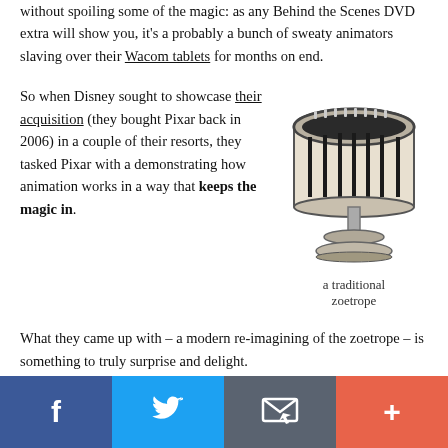without spoiling some of the magic: as any Behind the Scenes DVD extra will show you, it's a probably a bunch of sweaty animators slaving over their Wacom tablets for months on end.
So when Disney sought to showcase their acquisition (they bought Pixar back in 2006) in a couple of their resorts, they tasked Pixar with a demonstrating how animation works in a way that keeps the magic in.
[Figure (illustration): Black and white illustration of a traditional zoetrope, a cylindrical optical toy on a pedestal stand]
a traditional zoetrope
What they came up with – a modern re-imagining of the zoetrope – is something to truly surprise and delight.